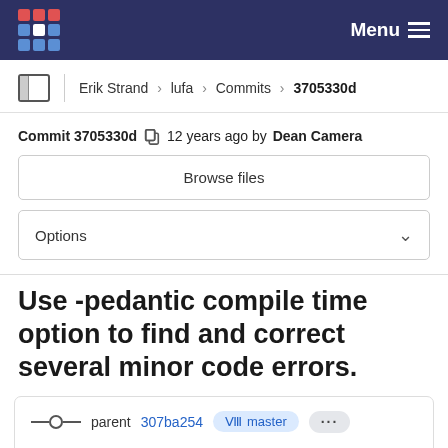Menu
Erik Strand > lufa > Commits > 3705330d
Commit 3705330d  12 years ago by Dean Camera
Browse files
Options
Use -pedantic compile time option to find and correct several minor code errors.
parent 307ba254  master  ...
No related merge requests found